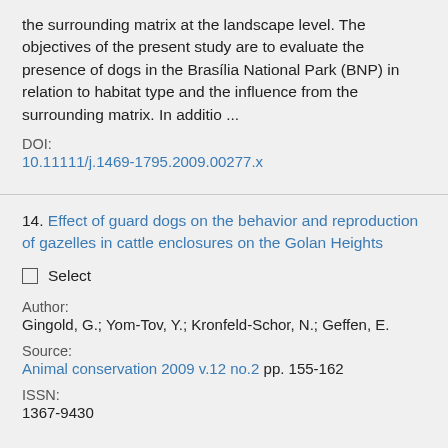the surrounding matrix at the landscape level. The objectives of the present study are to evaluate the presence of dogs in the Brasília National Park (BNP) in relation to habitat type and the influence from the surrounding matrix. In additio ...
DOI:
10.11111/j.1469-1795.2009.00277.x
14. Effect of guard dogs on the behavior and reproduction of gazelles in cattle enclosures on the Golan Heights
Select
Author:
Gingold, G.; Yom-Tov, Y.; Kronfeld-Schor, N.; Geffen, E.
Source:
Animal conservation 2009 v.12 no.2 pp. 155-162
ISSN:
1367-9430